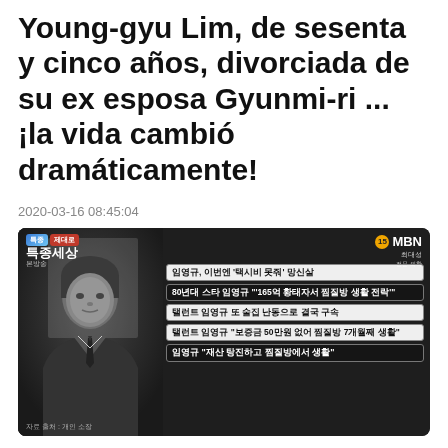Young-gyu Lim, de sesenta y cinco años, divorciada de su ex esposa Gyunmi-ri ... ¡la vida cambió dramáticamente!
2020-03-16 08:45:04
[Figure (screenshot): TV broadcast screenshot from MBN channel showing a black and white photo of a man in a suit and tie, with Korean news headlines overlaid on the right side of the screen. Headlines mention Im Young-gyu (임영규) and stories about taxi fare, living in a jjimjilbang (Korean sauna), and asset dissipation. The broadcast is labeled as a special program (특종세상) and shows the 15+ age rating.]